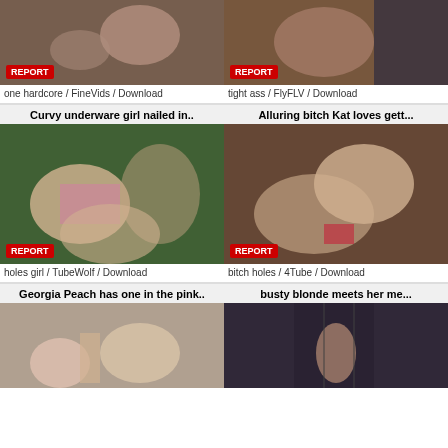[Figure (photo): Thumbnail image top left with REPORT badge]
one hardcore / FineVids / Download
[Figure (photo): Thumbnail image top right with REPORT badge]
tight ass / FlyFLV / Download
Curvy underware girl nailed in..
[Figure (photo): Middle left thumbnail with REPORT badge]
holes girl / TubeWolf / Download
Alluring bitch Kat loves gett...
[Figure (photo): Middle right thumbnail with REPORT badge]
bitch holes / 4Tube / Download
Georgia Peach has one in the pink..
[Figure (photo): Bottom left thumbnail partial]
busty blonde meets her me...
[Figure (photo): Bottom right thumbnail partial]